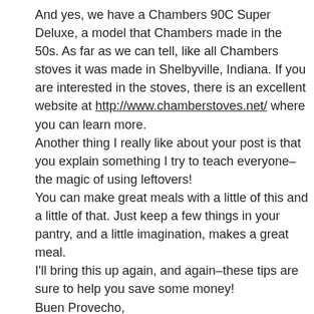And yes, we have a Chambers 90C Super Deluxe, a model that Chambers made in the 50s. As far as we can tell, like all Chambers stoves it was made in Shelbyville, Indiana. If you are interested in the stoves, there is an excellent website at http://www.chamberstoves.net/ where you can learn more.
Another thing I really like about your post is that you explain something I try to teach everyone–the magic of using leftovers!
You can make great meals with a little of this and a little of that. Just keep a few things in your pantry, and a little imagination, makes a great meal.
I'll bring this up again, and again–these tips are sure to help you save some money!
Buen Provecho,
Chef Daniel